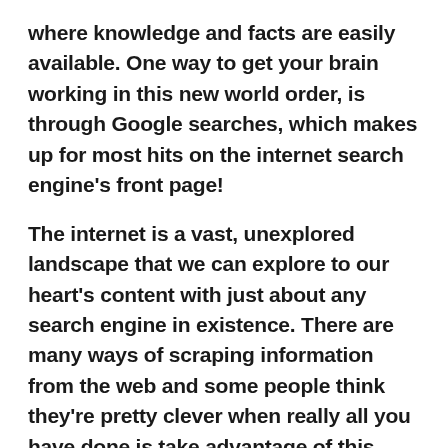where knowledge and facts are easily available. One way to get your brain working in this new world order, is through Google searches, which makes up for most hits on the internet search engine's front page!
The internet is a vast, unexplored landscape that we can explore to our heart's content with just about any search engine in existence. There are many ways of scraping information from the web and some people think they're pretty clever when really all you have done is take advantage of this fabulous resource Google provides us! Google has become a staple of our lives. Whether you are trying to learn something, shopping for groceries or recipes online — Google will be there with the answers that fit your needs!